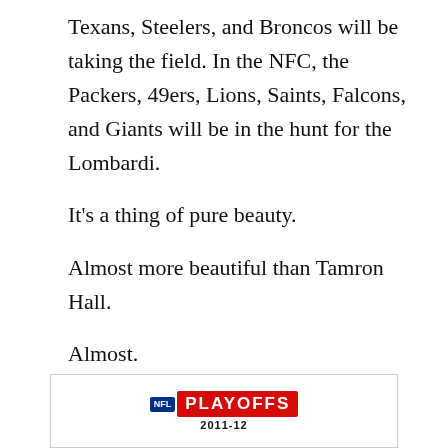Texans, Steelers, and Broncos will be taking the field. In the NFC, the Packers, 49ers, Lions, Saints, Falcons, and Giants will be in the hunt for the Lombardi.
It’s a thing of pure beauty.
Almost more beautiful than Tamron Hall.
Almost.
Let’s see what’s doing.
[Figure (logo): NFL Playoffs logo with NFL shield and red PLAYOFFS text, with year 2011-12 below]